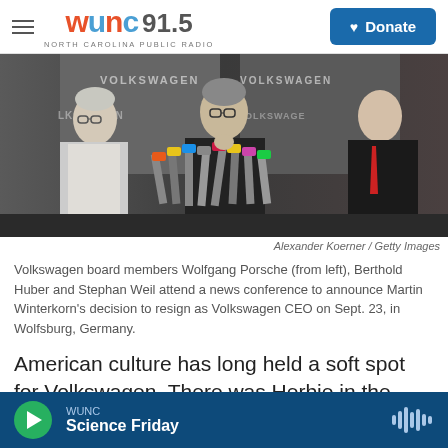WUNC 91.5 NORTH CAROLINA PUBLIC RADIO | Donate
[Figure (photo): Press conference showing Volkswagen board members at podiums with multiple microphones and Volkswagen banners in background]
Alexander Koerner / Getty Images
Volkswagen board members Wolfgang Porsche (from left), Berthold Huber and Stephan Weil attend a news conference to announce Martin Winterkorn's decision to resign as Volkswagen CEO on Sept. 23, in Wolfsburg, Germany.
American culture has long held a soft spot for Volkswagen. There was Herbie in the 1968 comedy The Love Bug. And, more recently, the chronically
WUNC Science Friday